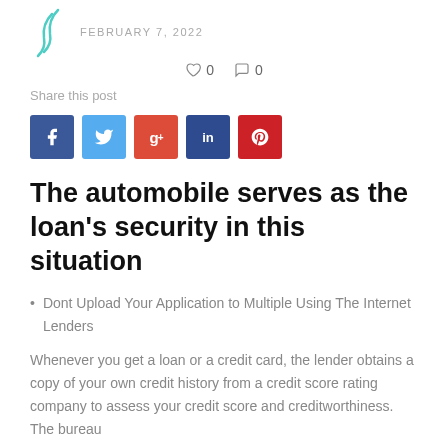FEBRUARY 7, 2022
♡ 0   ○ 0
Share this post
[Figure (infographic): Social media share buttons: Facebook (blue), Twitter (light blue), Google+ (red-orange), LinkedIn (dark blue), Pinterest (red)]
The automobile serves as the loan's security in this situation
Dont Upload Your Application to Multiple Using The Internet Lenders
Whenever you get a loan or a credit card, the lender obtains a copy of your own credit history from a credit score rating company to assess your credit score and creditworthiness. The bureau